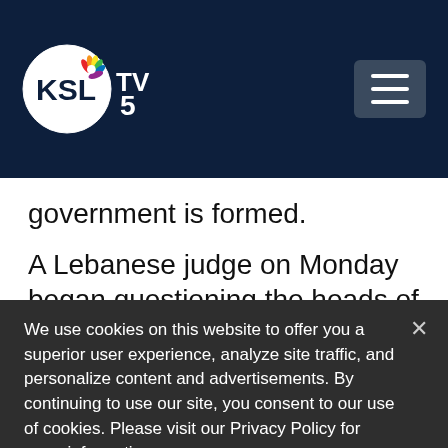KSL TV 5
government is formed.
A Lebanese judge on Monday began questioning the heads of the country's security agencies. Public Prosecutor
We use cookies on this website to offer you a superior user experience, analyze site traffic, and personalize content and advertisements. By continuing to use our site, you consent to our use of cookies. Please visit our Privacy Policy for more information.
Accept Cookies